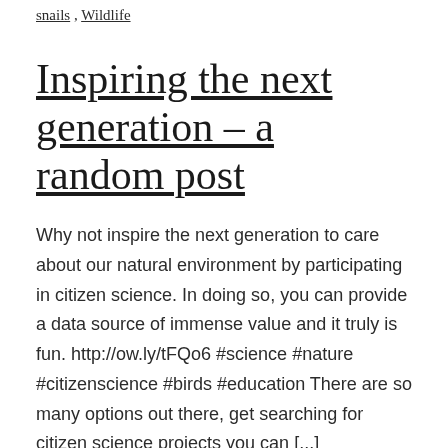snails, Wildlife
Inspiring the next generation – a random post
Why not inspire the next generation to care about our natural environment by participating in citizen science. In doing so, you can provide a data source of immense value and it truly is fun. http://ow.ly/tFQo6 #science #nature #citizenscience #birds #education There are so many options out there, get searching for citizen science projects you can [...]